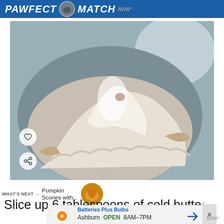PAWFECT MATCH
[Figure (photo): A mixing bowl viewed from above containing a mound of flour and dry ingredients, photographed on a blue-gray surface.]
WHAT'S NEXT → Pumpkin Scones with...
Slice up 6 tablespoons of cold butter
Batteries Plus Bulbs
Ashburn OPEN 8AM–7PM